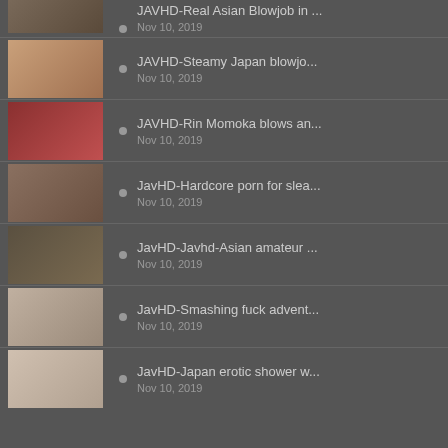JAVHD-Real Asian Blowjob in ... | Nov 10, 2019
JAVHD-Steamy Japan blowjo... | Nov 10, 2019
JAVHD-Rin Momoka blows an... | Nov 10, 2019
JavHD-Hardcore porn for slea... | Nov 10, 2019
JavHD-Javhd-Asian amateur ... | Nov 10, 2019
JavHD-Smashing fuck advent... | Nov 10, 2019
JavHD-Japan erotic shower w... | Nov 10, 2019